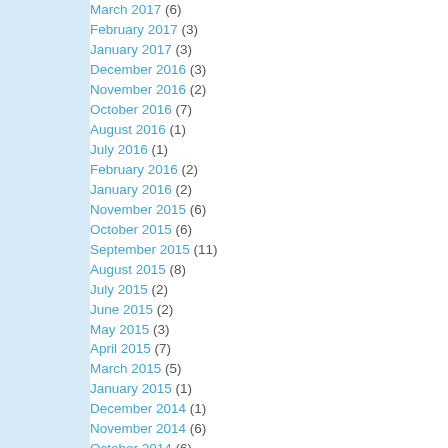March 2017 (6)
February 2017 (3)
January 2017 (3)
December 2016 (3)
November 2016 (2)
October 2016 (7)
August 2016 (1)
July 2016 (1)
February 2016 (2)
January 2016 (2)
November 2015 (6)
October 2015 (6)
September 2015 (11)
August 2015 (8)
July 2015 (2)
June 2015 (2)
May 2015 (3)
April 2015 (7)
March 2015 (5)
January 2015 (1)
December 2014 (1)
November 2014 (6)
October 2014 (6)